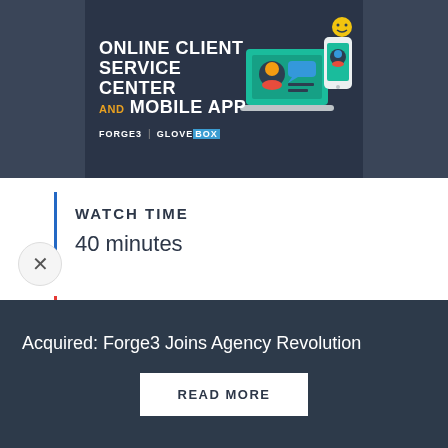[Figure (illustration): Dark-themed promotional banner reading 'ONLINE CLIENT SERVICE CENTER AND MOBILE APP' with laptop and phone illustrations, Forge3 and GloveBox logos]
WATCH TIME
40 minutes
DESIGNED TO
Look Amazing, Sell More, Service Better
Acquired: Forge3 Joins Agency Revolution
READ MORE